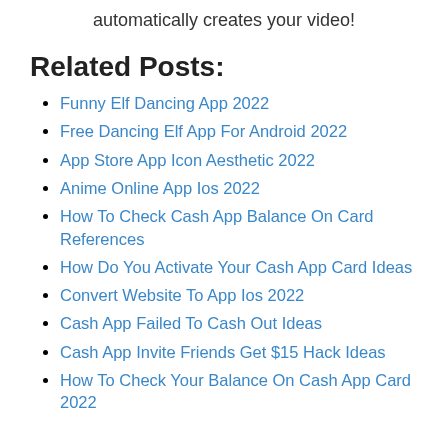then select a dance and the app automatically creates your video!
Related Posts:
Funny Elf Dancing App 2022
Free Dancing Elf App For Android 2022
App Store App Icon Aesthetic 2022
Anime Online App Ios 2022
How To Check Cash App Balance On Card References
How Do You Activate Your Cash App Card Ideas
Convert Website To App Ios 2022
Cash App Failed To Cash Out Ideas
Cash App Invite Friends Get $15 Hack Ideas
How To Check Your Balance On Cash App Card 2022